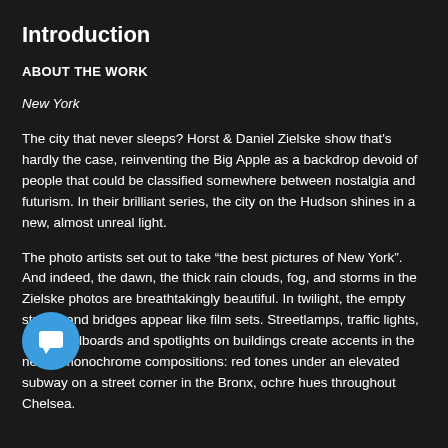Introduction
ABOUT THE WORK
New York
The city that never sleeps? Horst & Daniel Zielske show that's hardly the case, reinventing the Big Apple as a backdrop devoid of people that could be classified somewhere between nostalgia and futurism. In their brilliant series, the city on the Hudson shines in a new, almost unreal light.
The photo artists set out to take “the best pictures of New York”. And indeed, the dawn, the thick rain clouds, fog, and storms in the Zielske photos are breathtakingly beautiful. In twilight, the empty streets and bridges appear like film sets. Streetlamps, traffic lights, lighted billboards and spotlights on buildings create accents in the nearly monochrome compositions: red tones under an elevated subway on a street corner in the Bronx, ochre hues throughout Chelsea.